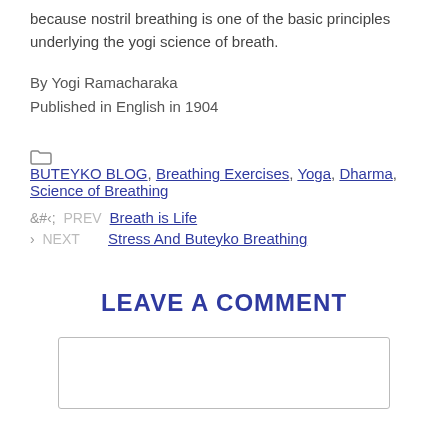because nostril breathing is one of the basic principles underlying the yogi science of breath.
By Yogi Ramacharaka
Published in English in 1904
BUTEYKO BLOG, Breathing Exercises, Yoga, Dharma, Science of Breathing
< PREV  Breath is Life
> NEXT  Stress And Buteyko Breathing
LEAVE A COMMENT